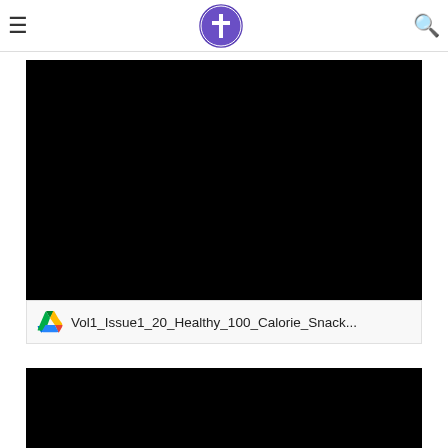Navigation bar with hamburger menu, logo, and search icon
[Figure (screenshot): Black rectangle representing a video or embedded media player]
Vol1_Issue1_20_Healthy_100_Calorie_Snack...
[Figure (screenshot): Black rectangle representing a second video or embedded media player]